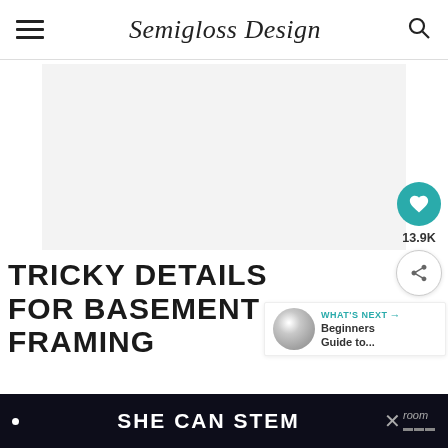Semigloss Design
[Figure (photo): Large photo placeholder area - light gray rectangle representing a blog article header image]
TRICKY DETAILS FOR BASEMENT FRAMING
13.9K
WHAT'S NEXT → Beginners Guide to...
SHE CAN STEM